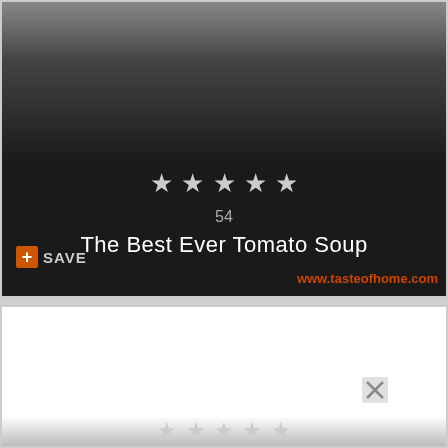[Figure (screenshot): Dark recipe card with gradient from grey to dark, showing 5 star rating, count 54, title 'The Best Ever Tomato Soup', save button, and website URL www.tasteofhome.com]
54
The Best Ever Tomato Soup
SAVE
www.tasteofhome.com
[Figure (screenshot): White card area with close/X icon and partial star rating row at bottom edge]